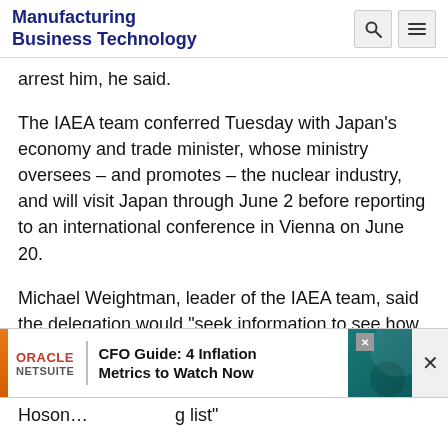Manufacturing Business Technology
arrest him, he said.
The IAEA team conferred Tuesday with Japan's economy and trade minister, whose ministry oversees – and promotes – the nuclear industry, and will visit Japan through June 2 before reporting to an international conference in Vienna on June 20.
Michael Weightman, leader of the IAEA team, said the delegation would "seek information to see how the world can learn lessons from the unfortunate events here."
[Figure (screenshot): Oracle NetSuite advertisement banner: CFO Guide: 4 Inflation Metrics to Watch Now]
Hoson... g list" of information which he would...